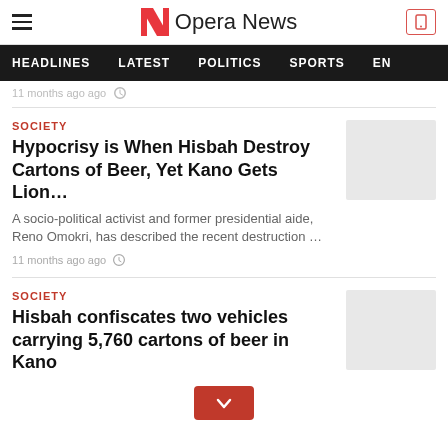Opera News
HEADLINES   LATEST   POLITICS   SPORTS   EN
11 months ago ago
SOCIETY
Hypocrisy is When Hisbah Destroy Cartons of Beer, Yet Kano Gets Lion…
A socio-political activist and former presidential aide, Reno Omokri, has described the recent destruction …
11 months ago ago
SOCIETY
Hisbah confiscates two vehicles carrying 5,760 cartons of beer in Kano